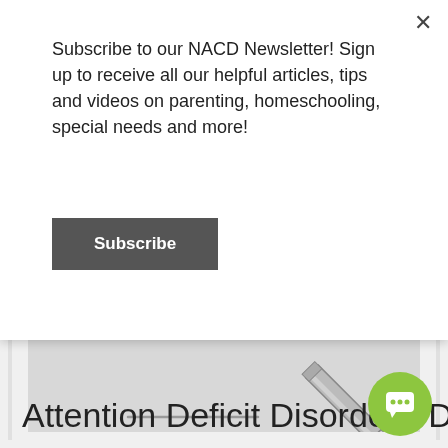Subscribe to our NACD Newsletter! Sign up to receive all our helpful articles, tips and videos on parenting, homeschooling, special needs and more!
Subscribe
[Figure (illustration): Pencil icon drawing on a surface, shown on a light gray background]
Attention Deficit Disorder: “Da